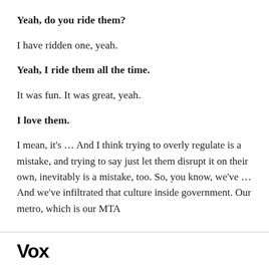Yeah, do you ride them?
I have ridden one, yeah.
Yeah, I ride them all the time.
It was fun. It was great, yeah.
I love them.
I mean, it’s … And I think trying to overly regulate is a mistake, and trying to say just let them disrupt it on their own, inevitably is a mistake, too. So, you know, we’ve … And we’ve infiltrated that culture inside government. Our metro, which is our MTA
Vox